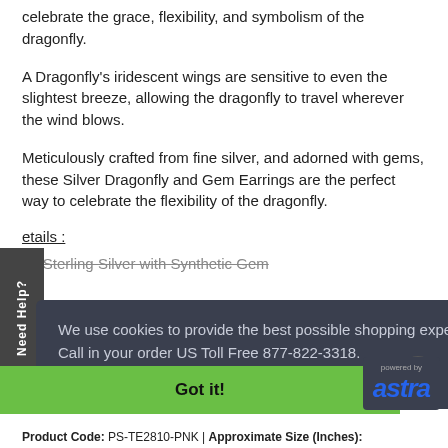celebrate the grace, flexibility, and symbolism of the dragonfly.
A Dragonfly's iridescent wings are sensitive to even the slightest breeze, allowing the dragonfly to travel wherever the wind blows.
Meticulously crafted from fine silver, and adorned with gems, these Silver Dragonfly and Gem Earrings are the perfect way to celebrate the flexibility of the dragonfly.
etails :
25 Sterling Silver with Synthetic Gem
We use cookies to provide the best possible shopping experience. Don't want them? Call in your order US Toll Free 877-822-3318.
Learn more
Got it!
Product Code: PS-TE2810-PNK | Approximate Size (Inches):